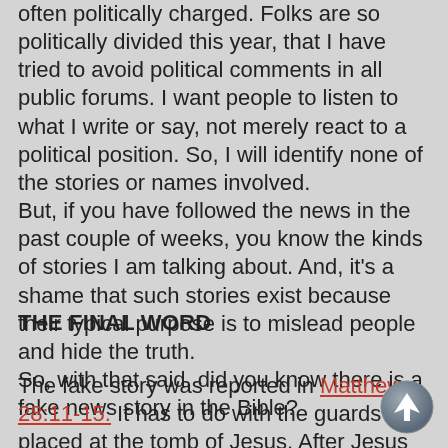often politically charged. Folks are so politically divided this year, that I have tried to avoid political comments in all public forums. I want people to listen to what I write or say, not merely react to a political position. So, I will identify none of the stories or names involved.
But, if you have followed the news in the past couple of weeks, you know the kinds of stories I am talking about. And, it's a shame that such stories exist because their typical purpose is to mislead people and hide the truth.
So, with that said, did you know there is a fake news story in the Bible?
THE FINAL WORD
The fake story was reported in Matthew 28:11-15. It has to do with the guards placed at the tomb of Jesus. After Jesus was raised, these men went to